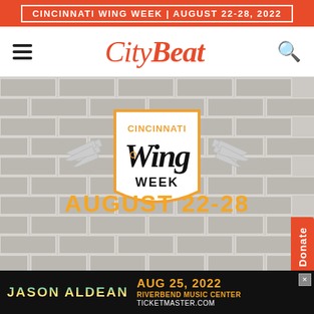CINCINNATI WING WEEK | AUGUST 22-28, 2022
[Figure (logo): CityBeat logo with hamburger menu and search icon]
[Figure (illustration): Cincinnati Wing Week logo on brick wall background with wings badge shield, text CINCINNATI Wing Week WEEK and AUGUST 22-28 in orange, with orange Donate button on right side]
[Figure (illustration): Jason Aldean advertisement: AUG 25, 2022 RIVERBEND MUSIC CENTER TICKETMASTER.COM]